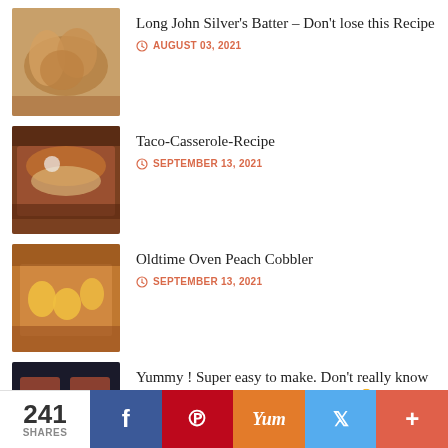Long John Silver's Batter – Don't lose this Recipe
AUGUST 03, 2021
Taco-Casserole-Recipe
SEPTEMBER 13, 2021
Oldtime Oven Peach Cobbler
SEPTEMBER 13, 2021
Yummy ! Super easy to make. Don't really know what it's called . Just DELICIOUS!! 😁
AUGUST 01, 2021
241 SHARES
f (Facebook)
P (Pinterest)
Yum (Yummly)
Twitter
+ (More)